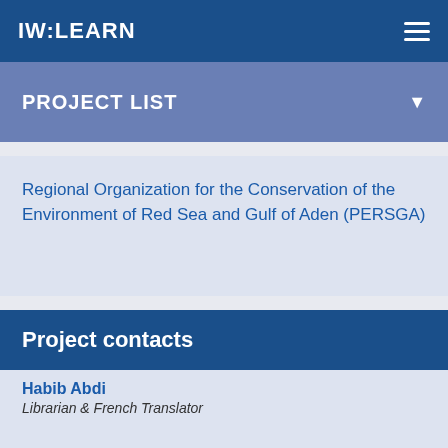IW:LEARN
PROJECT LIST
Regional Organization for the Conservation of the Environment of Red Sea and Gulf of Aden (PERSGA)
Project contacts
Habib Abdi
Librarian & French Translator
Khulood Tubaishat
Advisor – ICZM and Policy Development
Zaher Al-Agwan
Environmental Specialist
Mohamed Kotb
Coordinator for Biodiversity and MPAs Programme